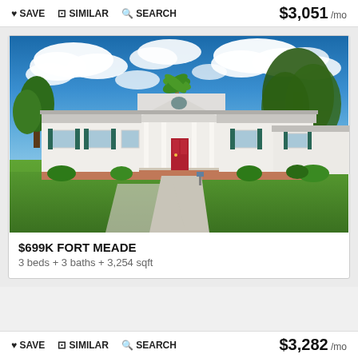♥ SAVE  ⊞ SIMILAR  🔍 SEARCH    $3,051 /mo
[Figure (photo): Exterior photo of a white single-story ranch-style home with green shutters, red front door, columned front porch, large green lawn, concrete driveway, blue sky with white clouds, and large oak trees in background. Fort Meade, Florida property.]
$699K FORT MEADE
3 beds + 3 baths + 3,254 sqft
♥ SAVE  ⊞ SIMILAR  🔍 SEARCH    $3,282 /mo